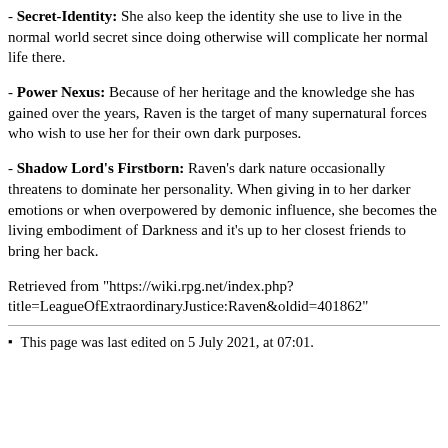- Secret-Identity: She also keep the identity she use to live in the normal world secret since doing otherwise will complicate her normal life there.
- Power Nexus: Because of her heritage and the knowledge she has gained over the years, Raven is the target of many supernatural forces who wish to use her for their own dark purposes.
- Shadow Lord's Firstborn: Raven’s dark nature occasionally threatens to dominate her personality. When giving in to her darker emotions or when overpowered by demonic influence, she becomes the living embodiment of Darkness and it’s up to her closest friends to bring her back.
Retrieved from "https://wiki.rpg.net/index.php?title=LeagueOfExtraordinaryJustice:Raven&oldid=401862"
This page was last edited on 5 July 2021, at 07:01.